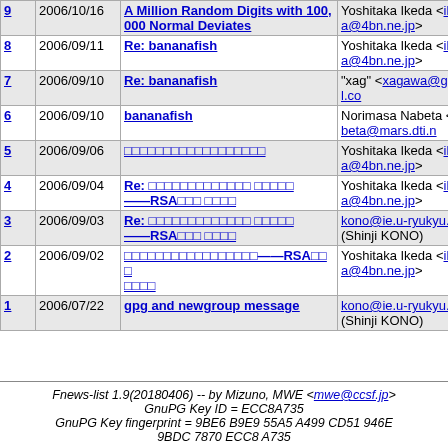| # | Date | Subject | From |
| --- | --- | --- | --- |
| 9 | 2006/10/16 | A Million Random Digits with 100,000 Normal Deviates | Yoshitaka Ikeda <ikeda@4bn.ne.jp> |
| 8 | 2006/09/11 | Re: bananafish | Yoshitaka Ikeda <ikeda@4bn.ne.jp> |
| 7 | 2006/09/10 | Re: bananafish | "xag" <xagawa@gmail.co |
| 6 | 2006/09/10 | bananafish | Norimasa Nabeta <nabeta@mars.dti.n |
| 5 | 2006/09/06 | [Japanese text] | Yoshitaka Ikeda <ikeda@4bn.ne.jp> |
| 4 | 2006/09/04 | Re: [Japanese text] ——RSA[Japanese] [Japanese] | Yoshitaka Ikeda <ikeda@4bn.ne.jp> |
| 3 | 2006/09/03 | Re: [Japanese text] ——RSA[Japanese] [Japanese] | kono@ie.u-ryukyu.a (Shinji KONO) |
| 2 | 2006/09/02 | [Japanese text]——RSA[Japanese] [Japanese] | Yoshitaka Ikeda <ikeda@4bn.ne.jp> |
| 1 | 2006/07/22 | gpg and newgroup message | kono@ie.u-ryukyu.a (Shinji KONO) |
Fnews-list 1.9(20180406) -- by Mizuno, MWE <mwe@ccsf.jp> GnuPG Key ID = ECC8A735 GnuPG Key fingerprint = 9BE6 B9E9 55A5 A499 CD51 946E 9BDC 7870 ECC8 A735